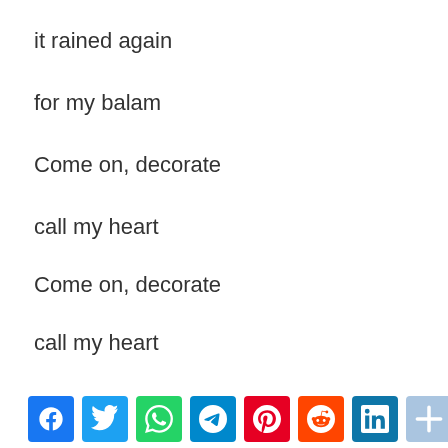it rained again
for my balam
Come on, decorate
call my heart
Come on, decorate
call my heart
Come on, decorate
call my heart
[Figure (other): Social sharing icons bar: Facebook (blue), Twitter (blue), WhatsApp (green), Telegram (blue), Pinterest (red), Reddit (orange-red), LinkedIn (teal), Add/Share (light blue), Email (blue)]